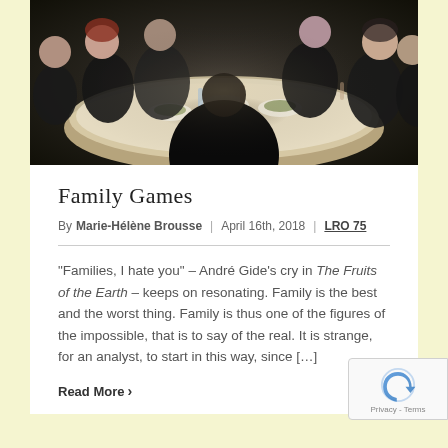[Figure (photo): A group of people dressed in dark formal attire seated around a large round dinner table filled with food, dishes, drinks, and candles. The scene appears to be a formal family dinner or gathering.]
Family Games
By Marie-Hélène Brousse | April 16th, 2018 | LRO 75
"Families, I hate you" – André Gide's cry in The Fruits of the Earth – keeps on resonating. Family is the best and the worst thing. Family is thus one of the figures of the impossible, that is to say of the real. It is strange, for an analyst, to start in this way, since […]
Read More ›